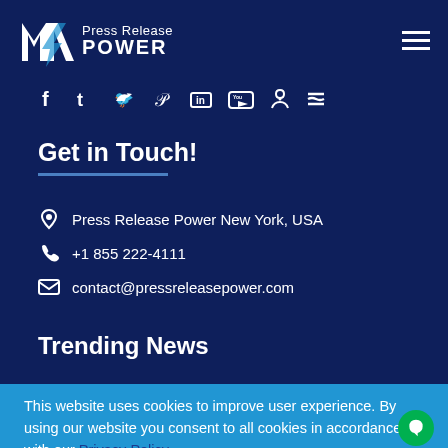Press Release POWER
[Figure (logo): Press Release Power logo with stylized M icon]
[Figure (infographic): Social media icons: facebook, tumblr, twitter, pinterest, linkedin, youtube, rss]
Get in Touch!
Press Release Power New York, USA
+1 855 222-4111
contact@pressreleasepower.com
Trending News
This website uses cookies to improve user experience. By using our website you consent to all cookies in accordance with our Privacy Policy
ACCEPT COOKIES
Hospitality
Sciences to